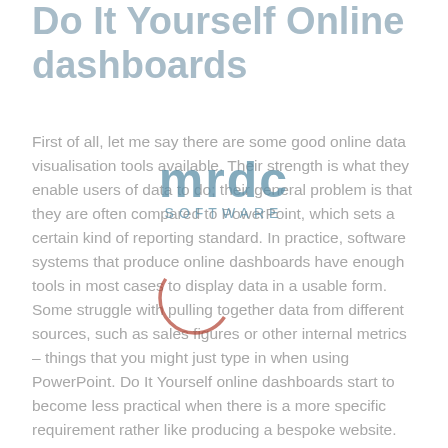Do It Yourself Online dashboards
[Figure (logo): mrdc SOFTWARE watermark logo with decorative circle, overlaid on the body text]
First of all, let me say there are some good online data visualisation tools available. Their strength is what they enable users of data to do; their general problem is that they are often compared to PowerPoint, which sets a certain kind of reporting standard. In practice, software systems that produce online dashboards have enough tools in most cases to display data in a usable form. Some struggle with pulling together data from different sources, such as sales figures or other internal metrics – things that you might just type in when using PowerPoint. Do It Yourself online dashboards start to become less practical when there is a more specific requirement rather like producing a bespoke website. Alternatively, the software just becomes too difficult to use without